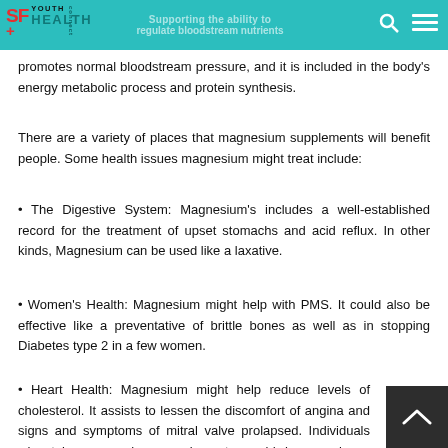SF Youth Health - Supporting the ability to regulate bloodstream nutrients
promotes normal bloodstream pressure, and it is included in the body's energy metabolic process and protein synthesis.
There are a variety of places that magnesium supplements will benefit people. Some health issues magnesium might treat include:
• The Digestive System: Magnesium's includes a well-established record for the treatment of upset stomachs and acid reflux. In other kinds, Magnesium can be used like a laxative.
• Women's Health: Magnesium might help with PMS. It could also be effective like a preventative of brittle bones as well as in stopping Diabetes type 2 in a few women.
• Heart Health: Magnesium might help reduce levels of cholesterol. It assists to lessen the discomfort of angina and signs and symptoms of mitral valve prolapsed. Individuals who take magnesium supplements could have a lower chance of developing me syndrome. You can even find reports that getting good mag